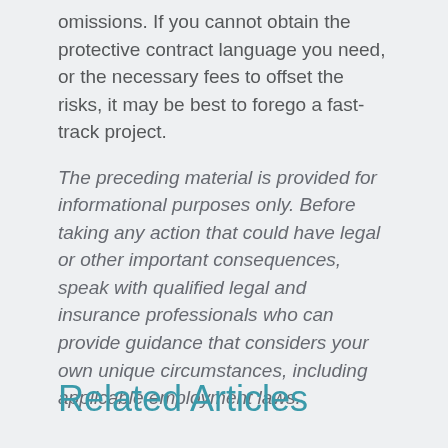omissions. If you cannot obtain the protective contract language you need, or the necessary fees to offset the risks, it may be best to forego a fast-track project.
The preceding material is provided for informational purposes only. Before taking any action that could have legal or other important consequences, speak with qualified legal and insurance professionals who can provide guidance that considers your own unique circumstances, including applicable employment laws.
Related Articles